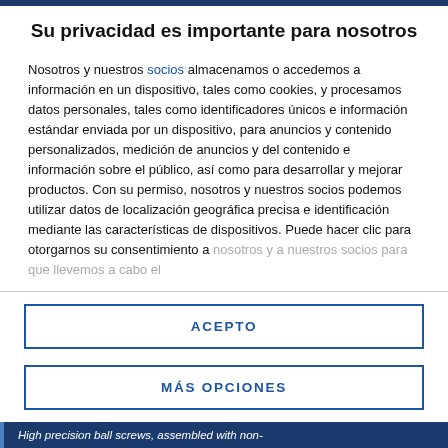Su privacidad es importante para nosotros
Nosotros y nuestros socios almacenamos o accedemos a información en un dispositivo, tales como cookies, y procesamos datos personales, tales como identificadores únicos e información estándar enviada por un dispositivo, para anuncios y contenido personalizados, medición de anuncios y del contenido e información sobre el público, así como para desarrollar y mejorar productos. Con su permiso, nosotros y nuestros socios podemos utilizar datos de localización geográfica precisa e identificación mediante las características de dispositivos. Puede hacer clic para otorgarnos su consentimiento a nosotros y a nuestros socios para que llevemos a cabo el
ACEPTO
MÁS OPCIONES
High precision ball screws, assembled with non-